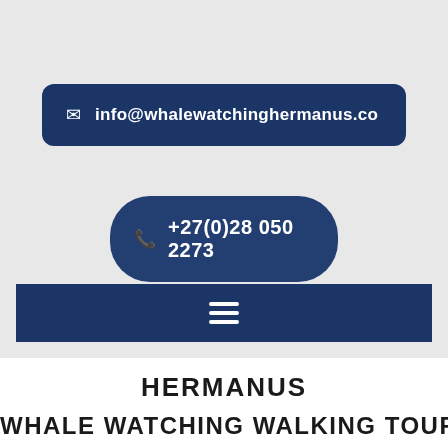info@whalewatchinghermanus.co
+27(0)28 050 2273
[Figure (other): Hamburger menu icon (three horizontal white lines) on dark navy blue bar]
HERMANUS
WHALE WATCHING WALKING TOUR